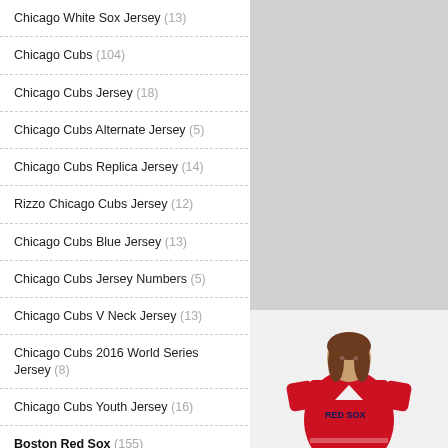Chicago White Sox Jersey (13)
Chicago Cubs (104)
Chicago Cubs Jersey (18)
Chicago Cubs Alternate Jersey (5)
Chicago Cubs Replica Jersey (14)
Rizzo Chicago Cubs Jersey (12)
Chicago Cubs Blue Jersey (13)
Chicago Cubs Jersey Numbers (5)
Chicago Cubs V Neck Jersey (13)
Chicago Cubs 2016 World Series Jersey (8)
Chicago Cubs Youth Jersey (16)
Boston Red Sox (155)
Boston Red Sox Jersey (12)
Boston Red Sox Baseball Jersey (20)
Boston Red Sox Jersey Cheap (12)
[Figure (photo): Gray placeholder rectangle in upper right column]
[Figure (photo): Woman wearing a red Boston Red Sox baseball jersey, shown from roughly waist up]